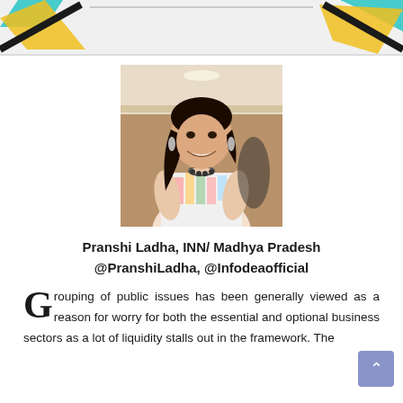[Figure (illustration): Decorative header banner with colorful geometric arrow/pencil shapes on left and right sides on light gray background]
[Figure (photo): Portrait photo of a young woman (Pranshi Ladha) smiling, wearing a colorful printed top with a necklace, in an indoor setting]
Pranshi Ladha, INN/ Madhya Pradesh @PranshiLadha, @Infodeaofficial
Grouping of public issues has been generally viewed as a reason for worry for both the essential and optional business sectors as a lot of liquidity stalls out in the framework. The